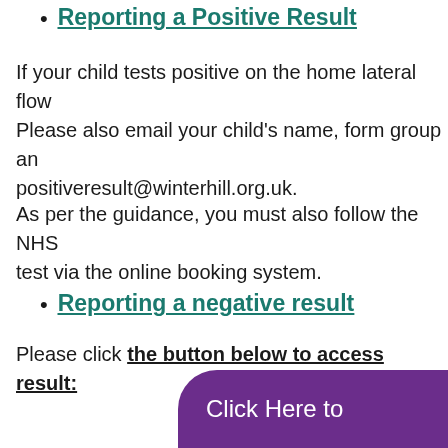Reporting a Positive Result
If your child tests positive on the home lateral flow Please also email your child's name, form group and positiveresult@winterhill.org.uk.
As per the guidance, you must also follow the NHS test via the online booking system.
Reporting a negative result
Please click the button below to access result:
[Figure (other): Purple rounded button with text 'Click Here to']